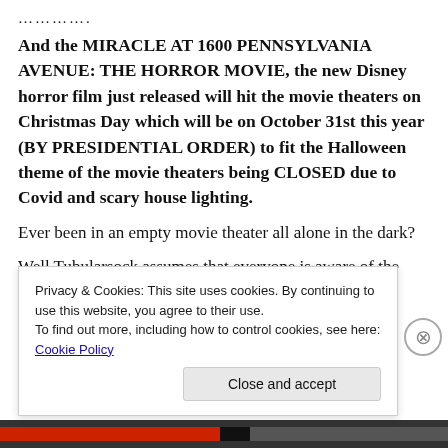…………..
And the MIRACLE AT 1600 PENNSYLVANIA AVENUE: THE HORROR MOVIE, the new Disney horror film just released will hit the movie theaters on Christmas Day which will be on October 31st this year (BY PRESIDENTIAL ORDER) to fit the Halloween theme of the movie theaters being CLOSED due to Covid and scary house lighting.
Ever been in an empty movie theater all alone in the dark?
Well Tubularsock assumes that everyone is aware of the MIRACLE of Congress…
Privacy & Cookies: This site uses cookies. By continuing to use this website, you agree to their use.
To find out more, including how to control cookies, see here: Cookie Policy
Close and accept